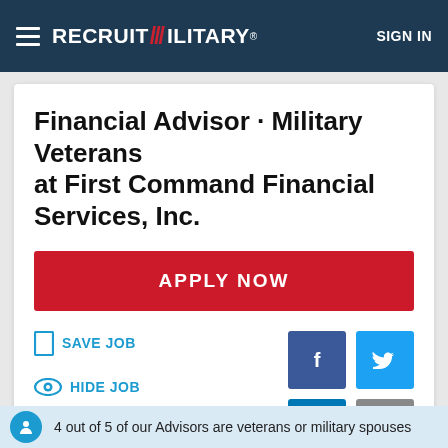RecruitMilitary® — SIGN IN
Financial Advisor - Military Veterans at First Command Financial Services, Inc.
APPLY NOW
SAVE JOB
HIDE JOB
FLAG JOB
4 out of 5 of our Advisors are veterans or military spouses